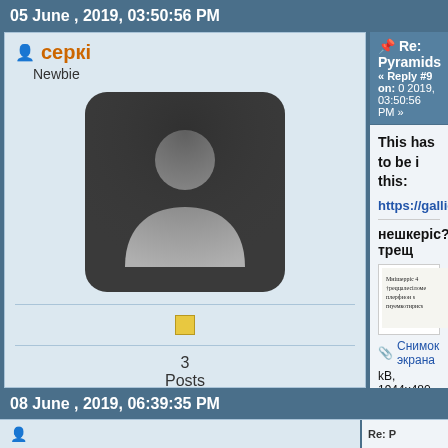05 June , 2019, 03:50:56 PM
серкі
Newbie
[Figure (illustration): Default user avatar icon - dark grey rounded square with white silhouette of a person]
3
Posts
People said thank you: 0
Re: Pyramids
« Reply #9 on: 0 2019, 03:50:56 PM »
This has to be i this:
https://gallica.b
нешкеріс? трещ
[Figure (screenshot): Small screenshot of old manuscript text with multiple columns of text]
Снимок экрана
kB, 1944x480 - view
08 June , 2019, 06:39:35 PM
Re: P